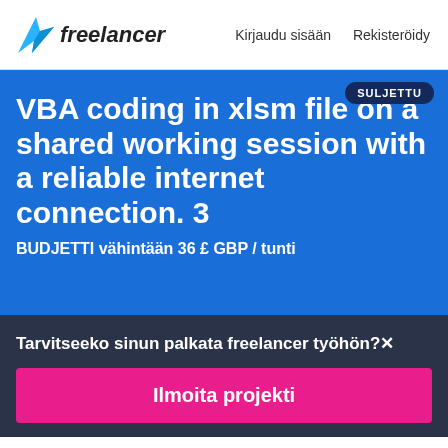freelancer  Kirjaudu sisään  Rekisteröidy
VBA coding in xlsm file on a shared working session with a reliable internet connection. 3
BUDJETTI vähintään 36 £ GBP / tunti
SULJETTU
Tarvitseeko sinun palkata freelancer työhön?
Ilmoita projekti